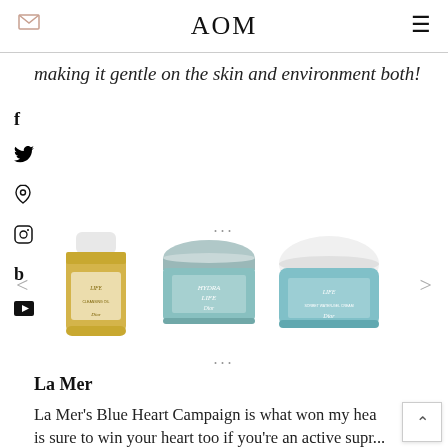AOM
making it gentle on the skin and environment both!
[Figure (illustration): Three Dior skincare product images: Dior Life cleansing oil (yellow bottle), Dior Hydra Life eye cream (teal jar), Dior Life sorbet cream (teal jar with white lid). Carousel with left and right navigation arrows.]
La Mer
La Mer's Blue Heart Campaign is what won my hea... is sure to win your heart too if you're an active supr...